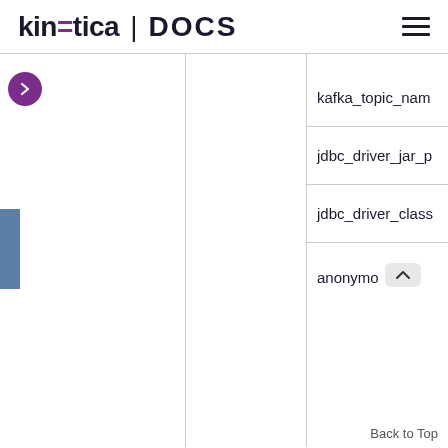kinetica | DOCS
|  |  |  |
| --- | --- | --- |
|  |  | kafka_topic_nam |
|  |  | jdbc_driver_jar_p |
|  |  | jdbc_driver_class |
|  |  | anonymo... |
Back to Top